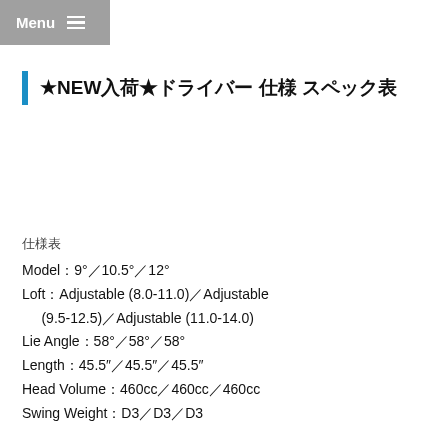Menu
★NEW入荷★ドライバー 仕様 スペック表
仕様表
Model：9°／10.5°／12°
Loft：Adjustable (8.0-11.0)／Adjustable (9.5-12.5)／Adjustable (11.0-14.0)
Lie Angle：58°／58°／58°
Length：45.5″／45.5″／45.5″
Head Volume：460cc／460cc／460cc
Swing Weight：D3／D3／D3